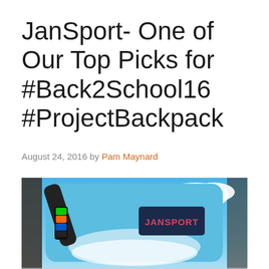JanSport- One of Our Top Picks for #Back2School16 #ProjectBackpack
August 24, 2016 by Pam Maynard
[Figure (photo): A JanSport backpack with a blue sky and clouds print design, featuring the JanSport logo patch on the front, with a colorful tag on the strap. The backpack is photographed from above/front angle against a dark background.]